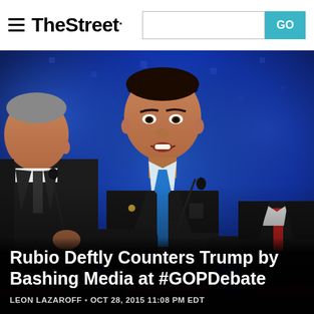TheStreet
[Figure (photo): Three men in dark suits at debate podiums on a stage with blue lighting backdrop. The central figure, Marco Rubio, wears a blue tie and gestures with his hands. To his left is a partially visible older man in a dark suit, and to his right another man in a dark suit with a red tie.]
Rubio Deftly Counters Trump by Bashing Media at #GOPDebate
LEON LAZAROFF • OCT 28, 2015 11:08 PM EDT